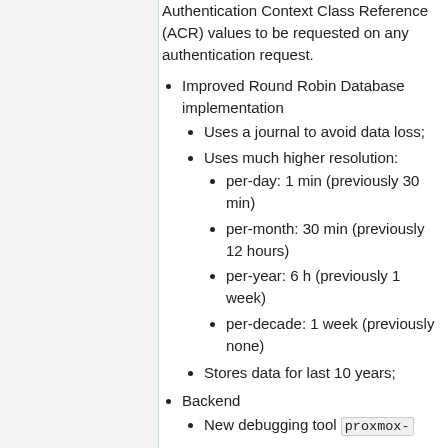Authentication Context Class Reference (ACR) values to be requested on any authentication request.
Improved Round Robin Database implementation
Uses a journal to avoid data loss;
Uses much higher resolution:
per-day: 1 min (previously 30 min)
per-month: 30 min (previously 12 hours)
per-year: 6 h (previously 1 week)
per-decade: 1 week (previously none)
Stores data for last 10 years;
Backend
New debugging tool proxmox-